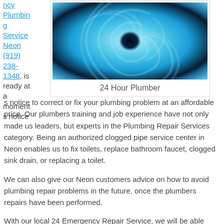ncy Plumbing Service Neon (919) 238-1348, is ready at a moments
[Figure (photo): A swirling blue water vortex or drain whirlpool, photographed from above.]
24 Hour Plumber
s notice to correct or fix your plumbing problem at an affordable price. Our plumbers training and job experience have not only made us leaders, but experts in the Plumbing Repair Services category. Being an authorized clogged pipe service center in Neon enables us to fix toilets, replace bathroom faucet, clogged sink drain, or replacing a toilet.
We can also give our Neon customers advice on how to avoid plumbing repair problems in the future, once the plumbers repairs have been performed.
With our local 24 Emergency Repair Service, we will be able